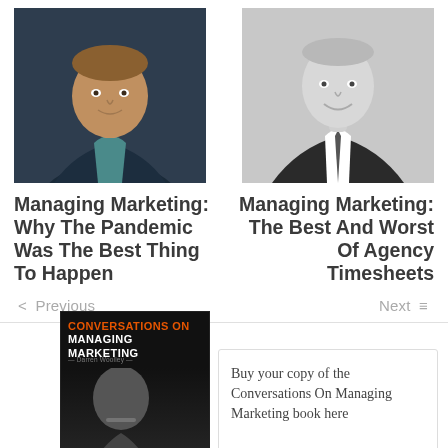[Figure (photo): Portrait photo of a man in a dark blazer against a dark background (left column)]
[Figure (photo): Black and white portrait photo of a man in a suit and tie (right column)]
Managing Marketing: Why The Pandemic Was The Best Thing To Happen
Managing Marketing: The Best And Worst Of Agency Timesheets
< Previous
Next =
[Figure (photo): Book cover: 'Conversations On Managing Marketing' by Darren Woolley, black cover with orange text]
Buy your copy of the Conversations On Managing Marketing book here